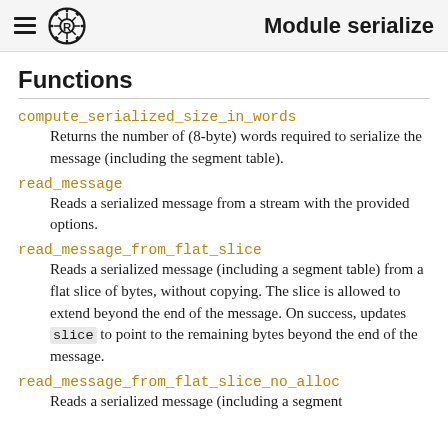Module serialize
Functions
compute_serialized_size_in_words
Returns the number of (8-byte) words required to serialize the message (including the segment table).
read_message
Reads a serialized message from a stream with the provided options.
read_message_from_flat_slice
Reads a serialized message (including a segment table) from a flat slice of bytes, without copying. The slice is allowed to extend beyond the end of the message. On success, updates slice to point to the remaining bytes beyond the end of the message.
read_message_from_flat_slice_no_alloc
Reads a serialized message (including a segment